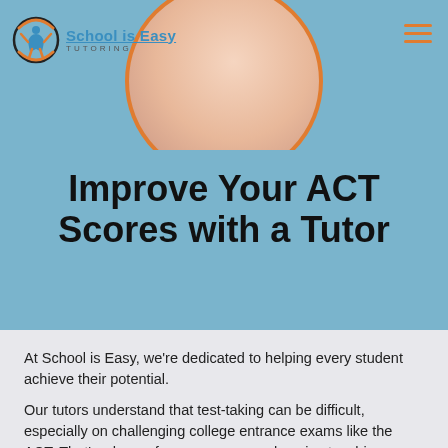[Figure (photo): Header area with light blue background, circular photo of hands writing/studying, School is Easy Tutoring logo on the left, and hamburger menu icon on the right]
Improve Your ACT Scores with a Tutor
At School is Easy, we're dedicated to helping every student achieve their potential.
Our tutors understand that test-taking can be difficult, especially on challenging college entrance exams like the ACT. That's why we focus on a comprehensive teaching strategy that gives students the tools they need to improve their scores, build confidence, reduce test anxiety, and achieve their academic goals in both high school and college.